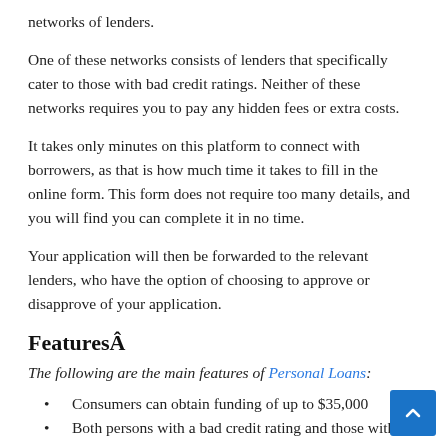networks of lenders.
One of these networks consists of lenders that specifically cater to those with bad credit ratings. Neither of these networks requires you to pay any hidden fees or extra costs.
It takes only minutes on this platform to connect with borrowers, as that is how much time it takes to fill in the online form. This form does not require too many details, and you will find you can complete it in no time.
Your application will then be forwarded to the relevant lenders, who have the option of choosing to approve or disapprove of your application.
FeaturesÂ
The following are the main features of Personal Loans:
Consumers can obtain funding of up to $35,000
Both persons with a bad credit rating and those with